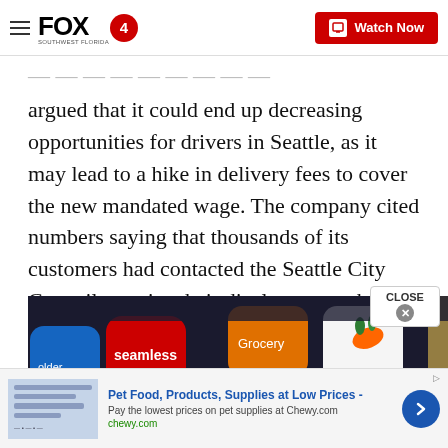FOX 4 — Watch Now
argued that it could end up decreasing opportunities for drivers in Seattle, as it may lead to a hike in delivery fees to cover the new mandated wage. The company cited numbers saying that thousands of its customers had contacted the Seattle City Council to voice their displeasure at that prospect.
[Figure (photo): Smartphone screen showing food and grocery delivery app icons including Seamless, Grocery, Instacart, Postmates, DoorDash, and others on a dark background.]
Pet Food, Products, Supplies at Low Prices - Pay the lowest prices on pet supplies at Chewy.com chewy.com